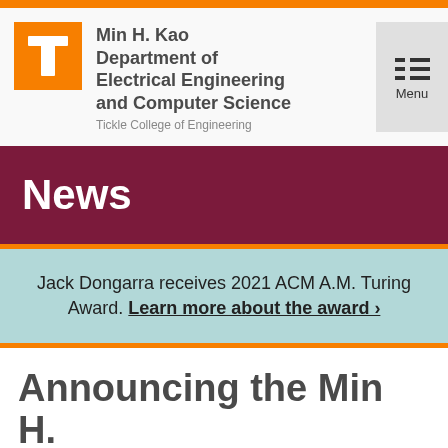[Figure (logo): University of Tennessee orange T logo with Min H. Kao Department of Electrical Engineering and Computer Science header and Tickle College of Engineering subtitle]
Min H. Kao Department of Electrical Engineering and Computer Science
Tickle College of Engineering
News
Jack Dongarra receives 2021 ACM A.M. Turing Award. Learn more about the award ›
Announcing the Min H.